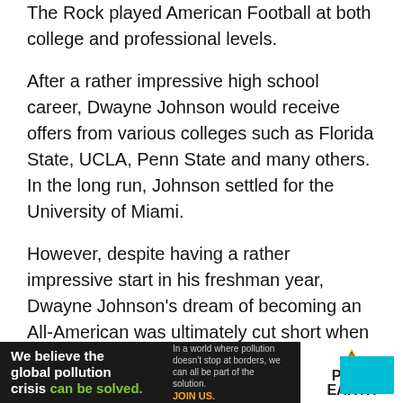The Rock played American Football at both college and professional levels.
After a rather impressive high school career, Dwayne Johnson would receive offers from various colleges such as Florida State, UCLA, Penn State and many others. In the long run, Johnson settled for the University of Miami.
However, despite having a rather impressive start in his freshman year, Dwayne Johnson’s dream of becoming an All-American was ultimately cut short when he tore his shoulder. Ultimately, Warren Sapp, one of the greatest linemen to ever play the game, ended up taking Johnson’s place on the team.
[Figure (other): Advertisement banner for Pure Earth: 'We believe the global pollution crisis can be solved.' with Pure Earth logo and Join Us call to action.]